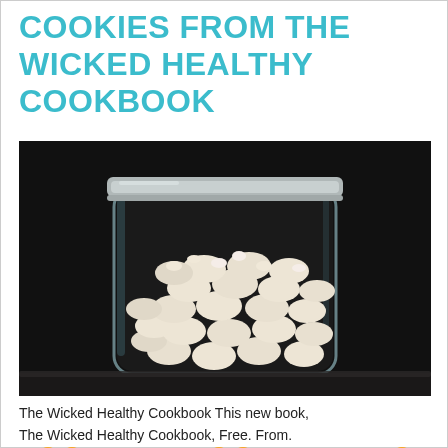COOKIES FROM THE WICKED HEALTHY COOKBOOK
[Figure (photo): A glass mason jar with a metal lid, filled with small white meringue cookies (swirl-shaped), photographed against a dark black background on a dark surface.]
The Wicked Healthy Cookbook This new book, The Wicked Healthy Cookbook, Free. From. An●●ls aut■■ed by l●●longtim■■ friends●